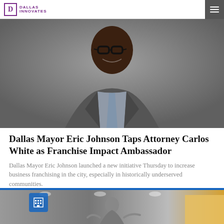Dallas Innovates
[Figure (photo): Portrait photo of Carlos White, a Black man wearing glasses and a grey suit with a light blue checked shirt, smiling, against a grey background.]
Dallas Mayor Eric Johnson Taps Attorney Carlos White as Franchise Impact Ambassador
Dallas Mayor Eric Johnson launched a new initiative Thursday to increase business franchising in the city, especially in historically underserved communities. Johnson appointed Carlos White—a Dallas attorney who specializes in franchise law—to serve as the first Franchise Impact Ambassador and chair of the 'Mayor's Franchise Initiative' to foster economic growth....
[Figure (photo): Bottom strip showing a partial interior venue photo (warehouse/arena with overhead lights) with a man visible, a yellow/gold sign at right, and a blue building icon badge overlay at upper left.]